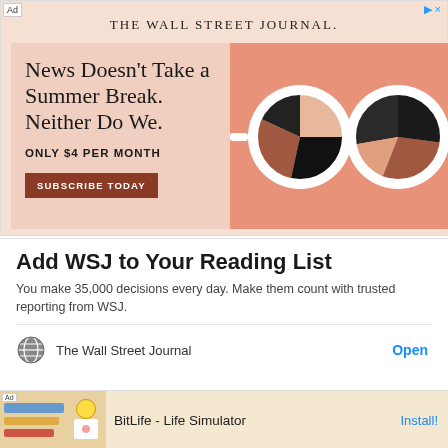[Figure (illustration): WSJ advertisement banner with salmon/peach background. Left side has serif headline text 'News Doesn't Take a Summer Break. Neither Do We.' with 'ONLY $4 PER MONTH' and a dark red 'SUBSCRIBE TODAY' button. Right side shows a stylized illustration of sunglasses with pie-chart-like lenses in black, tan, and brown tones on a darker salmon background. 'THE WALL STREET JOURNAL.' logo at top center.]
Add WSJ to Your Reading List
You make 35,000 decisions every day. Make them count with trusted reporting from WSJ.
The Wall Street Journal
Open
[Figure (screenshot): Bottom ad for BitLife - Life Simulator app. Shows app icon/screenshot on left, 'Ad' label, and 'BitLife - Life Simulator' text with 'Install!' button on right.]